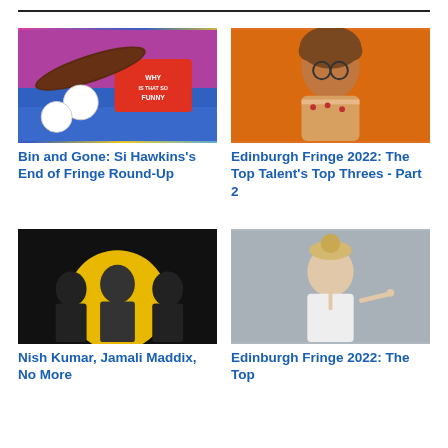[Figure (photo): Assorted comedy show badges and props on colourful background including a knitted sausage and a badge reading 'WHY IS THAT SO FUNNY']
Bin and Gone: Si Hawkins's End of Fringe Round-Up
[Figure (photo): Person with curly hair and round glasses in a floral shirt against an orange background]
Edinburgh Fringe 2022: The Top Talent's Top Threes - Part 2
[Figure (photo): Black and white photo of three men in suits against a yellow circle background (Nish Kumar, Jamali Maddix, No More)]
Nish Kumar, Jamali Maddix, No More
[Figure (photo): Blonde woman with hair up pointing finger against grey background]
Edinburgh Fringe 2022: The Top